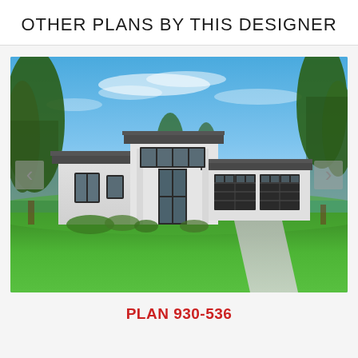OTHER PLANS BY THIS DESIGNER
[Figure (photo): Rendered exterior elevation of a modern single-story house with flat roofline accents, white stucco exterior, large dark-framed windows, double garage doors, lush green lawn, and blue sky background. Navigation arrows on left and right sides.]
PLAN 930-536